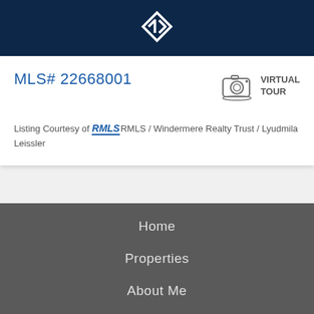[Figure (logo): Real estate company logo with arrow/chevron icon in white on dark navy background]
MLS# 22668001
[Figure (illustration): Camera icon representing virtual tour]
VIRTUAL TOUR
Listing Courtesy of RMLS RMLS / Windermere Realty Trust / Lyudmila Leissler
Home
Properties
About Me